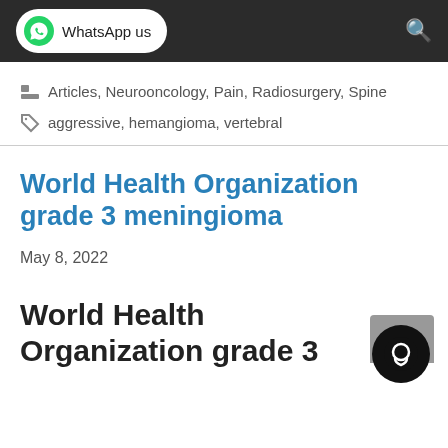WhatsApp us
Articles, Neurooncology, Pain, Radiosurgery, Spine
aggressive, hemangioma, vertebral
World Health Organization grade 3 meningioma
May 8, 2022
World Health Organization grade 3